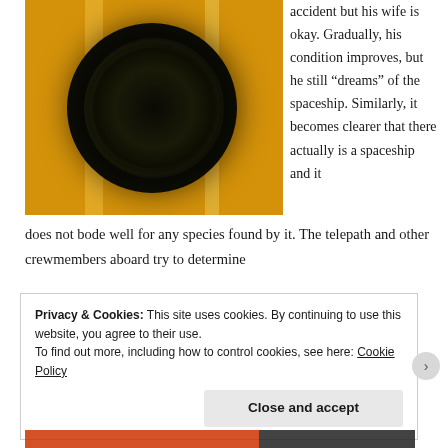[Figure (illustration): Abstract science fiction painting showing a dark swirling vortex or mechanical eye on an orange/yellow background with small spaceship-like objects]
accident but his wife is okay. Gradually, his condition improves, but he still “dreams” of the spaceship. Similarly, it becomes clearer that there actually is a spaceship and it does not bode well for any species found by it. The telepath and other crewmembers aboard try to determine
Privacy & Cookies: This site uses cookies. By continuing to use this website, you agree to their use.
To find out more, including how to control cookies, see here: Cookie Policy
Close and accept